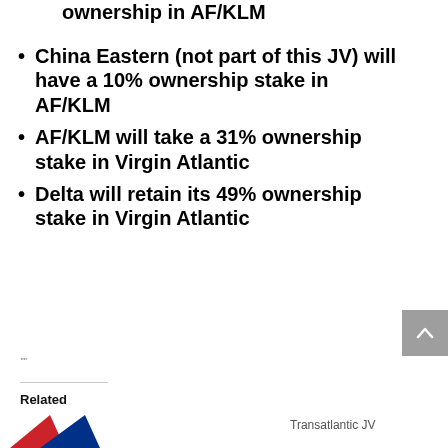ownership in AF/KLM
China Eastern (not part of this JV) will have a 10% ownership stake in AF/KLM
AF/KLM will take a 31% ownership stake in Virgin Atlantic
Delta will retain its 49% ownership stake in Virgin Atlantic
""
Related
Transatlantic JV